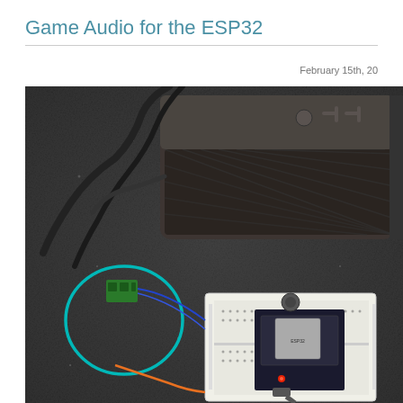Game Audio for the ESP32
February 15th, 20
[Figure (photo): Photo of an ESP32 microcontroller on a breadboard connected to a Jawbone Jambox Bluetooth speaker via wires. A green looped wire connects to a small green terminal block. The ESP32 board has a red LED lit. The setup sits on a dark granite countertop.]